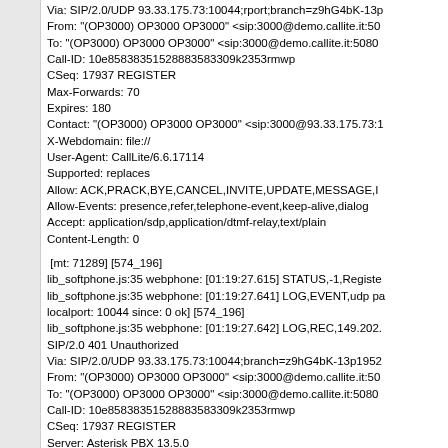Via: SIP/2.0/UDP 93.33.175.73:10044;rport;branch=z9hG4bK-13p...
From: "(OP3000) OP3000 OP3000" <sip:3000@demo.callite.it:50...
To: "(OP3000) OP3000 OP3000" <sip:3000@demo.callite.it:5080...
Call-ID: 10e85838351528883583309k2353rmwp
CSeq: 17937 REGISTER
Max-Forwards: 70
Expires: 180
Contact: "(OP3000) OP3000 OP3000" <sip:3000@93.33.175.73:1...
X-Webdomain: file://
User-Agent: CallLite/6.6.17114
Supported: replaces
Allow: ACK,PRACK,BYE,CANCEL,INVITE,UPDATE,MESSAGE,I...
Allow-Events: presence,refer,telephone-event,keep-alive,dialog
Accept: application/sdp,application/dtmf-relay,text/plain
Content-Length: 0

[mt: 71289] [574_196]
lib_softphone.js:35 webphone: [01:19:27.615] STATUS,-1,Registe...
lib_softphone.js:35 webphone: [01:19:27.641] LOG,EVENT,udp pa...
localport: 10044 since: 0 ok] [574_196]
lib_softphone.js:35 webphone: [01:19:27.642] LOG,REC,149.202....
SIP/2.0 401 Unauthorized
Via: SIP/2.0/UDP 93.33.175.73:10044;branch=z9hG4bK-13p1952...
From: "(OP3000) OP3000 OP3000" <sip:3000@demo.callite.it:50...
To: "(OP3000) OP3000 OP3000" <sip:3000@demo.callite.it:5080...
Call-ID: 10e85838351528883583309k2353rmwp
CSeq: 17937 REGISTER
Server: Asterisk PBX 13.5.0
...